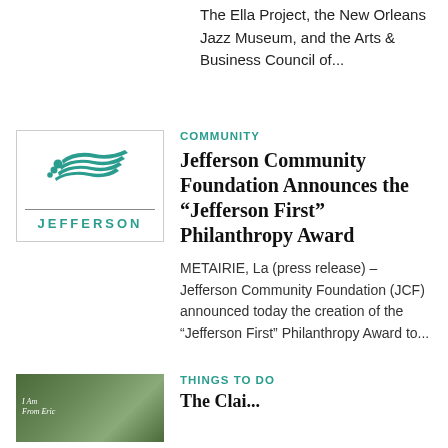The Ella Project, the New Orleans Jazz Museum, and the Arts & Business Council of...
[Figure (logo): Jefferson Community Foundation logo: teal wave/feather graphic above a horizontal line and the word JEFFERSON in teal capital letters]
COMMUNITY
Jefferson Community Foundation Announces the “Jefferson First” Philanthropy Award
METAIRIE, La (press release) – Jefferson Community Foundation (JCF) announced today the creation of the “Jefferson First” Philanthropy Award to...
[Figure (photo): Thumbnail photo of a book cover reading 'I Am From Erie' with a man in a casual shirt outdoors in a green setting]
THINGS TO DO
The Clai...